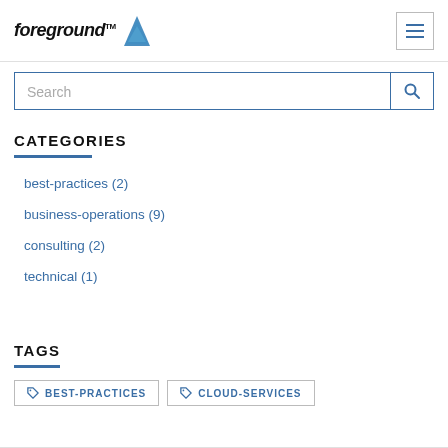foreground [logo with sail/pyramid icon] [hamburger menu button]
Search
CATEGORIES
best-practices (2)
business-operations (9)
consulting (2)
technical (1)
TAGS
BEST-PRACTICES
CLOUD-SERVICES